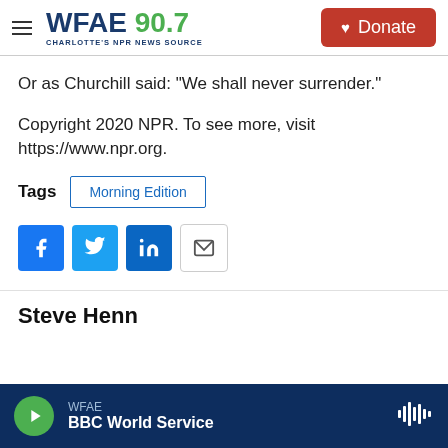WFAE 90.7 CHARLOTTE'S NPR NEWS SOURCE | Donate
Or as Churchill said: "We shall never surrender."
Copyright 2020 NPR. To see more, visit https://www.npr.org.
Tags  Morning Edition
[Figure (other): Social sharing icons: Facebook, Twitter, LinkedIn, Email]
Steve Henn
WFAE  BBC World Service